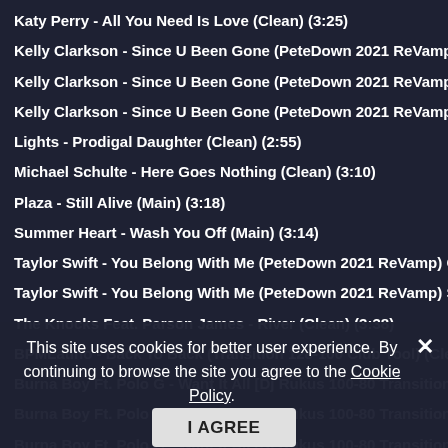Katy Perry - All You Need Is Love (Clean) (3:25)
Kelly Clarkson - Since U Been Gone (PeteDown 2021 ReVamp) Aca…
Kelly Clarkson - Since U Been Gone (PeteDown 2021 ReVamp) Cle…
Kelly Clarkson - Since U Been Gone (PeteDown 2021 ReVamp) Sla…
Lights - Prodigal Daughter (Clean) (2:55)
Michael Schulte - Here Goes Nothing (Clean) (3:10)
Plaza - Still Alive (Main) (3:18)
Summer Heart - Wash You Off (Main) (3:14)
Taylor Swift - You Belong With Me (PeteDown 2021 ReVamp) Clean…
Taylor Swift - You Belong With Me (PeteDown 2021 ReVamp) Short…
The Knocks Feat. Parson James - River (Clean) (3:38)
BPMLatino - Back To Back (Transition 128-100 Club Tool) (Clean) (…
Burna Boy Ft. Polo G - Want It All [Dj Rukus 100-80 Transition] (Cle…
Burna Boy Ft. Polo G - Want It All [Dj Rukus 100-80 Transition] (Di…
Burna Boy Ft. Polo G - Want It All [Dj Rukus 100-80 Transition] (Qu…
Burna Boy Ft. Polo G - Want It All [Dj Rukus 100-80 Transition] (Qu…
Chuckie ft Lupe Fiasco, Snow Tha Product & Too Short - Makin' Pa… (4:52)
Deep Transit - A Brilliant Skyline Across Major Cities (Ma… (6:03)
Dj Simo - Simo Down Tr… …al (128-100) (0:57)
Dj Simo - Simo Down Transition Tool (128-100)…
This site uses cookies for better user experience. By continuing to browse the site you agree to the Cookie Policy.
I AGREE